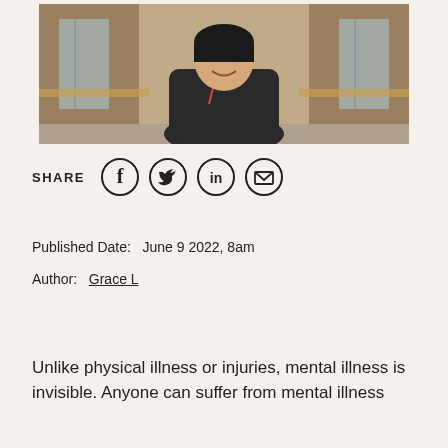[Figure (photo): A young woman smiling in a hallway with brick walls and wooden railings, wearing a dark hoodie]
SHARE
[Figure (infographic): Social share icons: Facebook, Twitter, LinkedIn, Email]
Published Date:  June 9 2022, 8am
Author:  Grace L
Unlike physical illness or injuries, mental illness is invisible. Anyone can suffer from mental illness regardless from where they come from